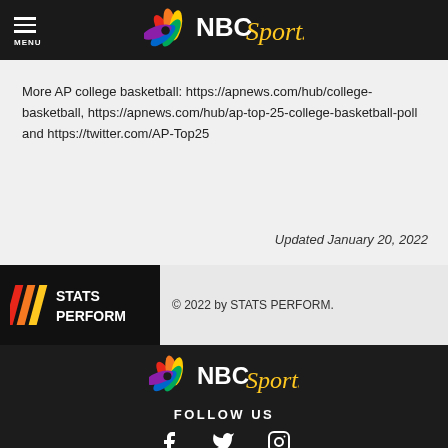NBC Sports
More AP college basketball: https://apnews.com/hub/college-basketball, https://apnews.com/hub/ap-top-25-college-basketball-poll and https://twitter.com/AP-Top25
Updated January 20, 2022
[Figure (logo): STATS PERFORM logo with colored slash marks on black background]
© 2022 by STATS PERFORM.
NBC Sports - FOLLOW US - social media icons (Facebook, Twitter, Instagram)